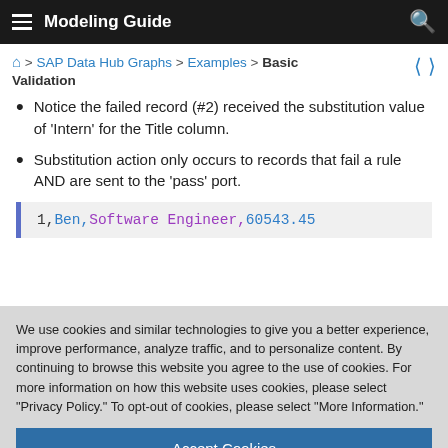Modeling Guide
⌂ > SAP Data Hub Graphs > Examples > Basic Validation
Notice the failed record (#2) received the substitution value of 'Intern' for the Title column.
Substitution action only occurs to records that fail a rule AND are sent to the 'pass' port.
1,Ben,Software Engineer,60543.45
We use cookies and similar technologies to give you a better experience, improve performance, analyze traffic, and to personalize content. By continuing to browse this website you agree to the use of cookies. For more information on how this website uses cookies, please select "Privacy Policy." To opt-out of cookies, please select "More Information."
Accept Cookies
More Information
Privacy Policy | Powered by: TrustArc
Failed rules are shown with a unique identifier.